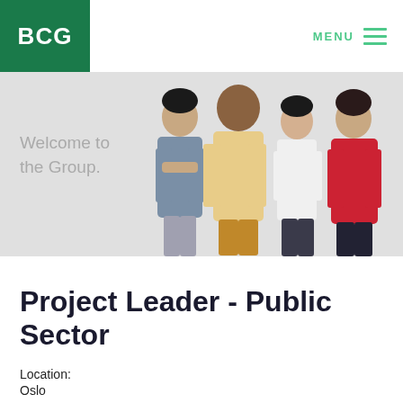[Figure (logo): BCG (Boston Consulting Group) logo — white text 'BCG' on dark green background]
MENU ≡
[Figure (photo): Group of four diverse professionals standing together on a light grey background. Text overlay reads 'Welcome to the Group.']
Project Leader - Public Sector
Location:
Oslo